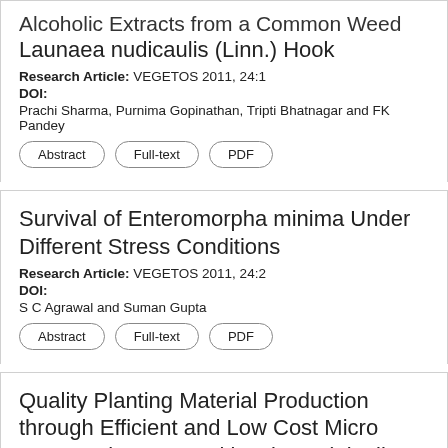Alcoholic Extracts from a Common Weed Launaea nudicaulis (Linn.) Hook
Research Article: VEGETOS 2011, 24:1
DOI:
Prachi Sharma, Purnima Gopinathan, Tripti Bhatnagar and FK Pandey
Survival of Enteromorpha minima Under Different Stress Conditions
Research Article: VEGETOS 2011, 24:2
DOI:
S C Agrawal and Suman Gupta
Quality Planting Material Production through Efficient and Low Cost Micro Propagation Protocol in Ginger (Zingiber officinale Rosc.)
Research Article: VEGETOS 2011, 24:1
DOI: